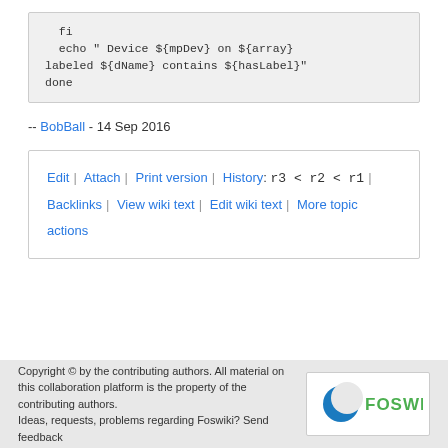fi
  echo " Device ${mpDev} on ${array} labeled ${dName} contains ${hasLabel}"
done
-- BobBall - 14 Sep 2016
Edit | Attach | Print version | History: r3 < r2 < r1 | Backlinks | View wiki text | Edit wiki text | More topic actions
Copyright © by the contributing authors. All material on this collaboration platform is the property of the contributing authors. Ideas, requests, problems regarding Foswiki? Send feedback